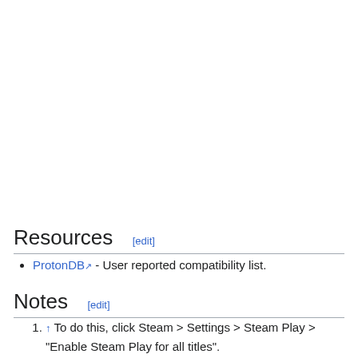Resources [edit]
ProtonDB - User reported compatibility list.
Notes [edit]
↑ To do this, click Steam > Settings > Steam Play > "Enable Steam Play for all titles".